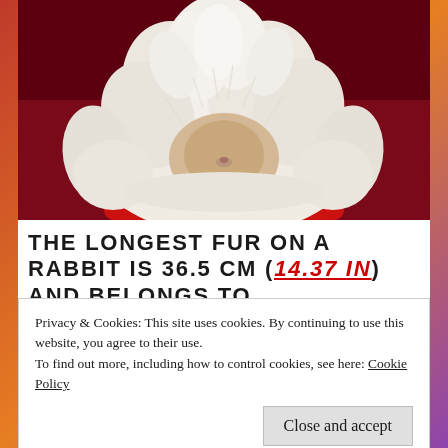[Figure (photo): A very fluffy white Angora rabbit sitting on a red surface against a dark red background. The rabbit's fur is extremely voluminous and long, nearly obscuring its face.]
THE LONGEST FUR ON A RABBIT IS 36.5 CM (14.37 IN) AND BELONGS TO
Privacy & Cookies: This site uses cookies. By continuing to use this website, you agree to their use.
To find out more, including how to control cookies, see here: Cookie Policy
Close and accept